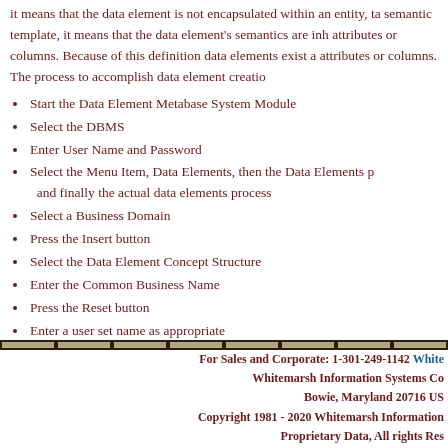it means that the data element is not encapsulated within an entity, ta semantic template, it means that the data element's semantics are inh attributes or columns. Because of this definition data elements exist a attributes or columns. The process to accomplish data element creatio
Start the Data Element Metabase System Module
Select the DBMS
Enter User Name and Password
Select the Menu Item, Data Elements, then the Data Elements p and finally the actual data elements process
Select a Business Domain
Press the Insert button
Select the Data Element Concept Structure
Enter the Common Business Name
Press the Reset button
Enter a user set name as appropriate
Enter a local definition
Press the AutoDef button to generate the definition
For Sales and Corporate: 1-301-249-1142 Whitemarsh Information Systems Co Bowie, Maryland 20716 US Copyright 1981 - 2020 Whitemarsh Information Proprietary Data, All rights Res